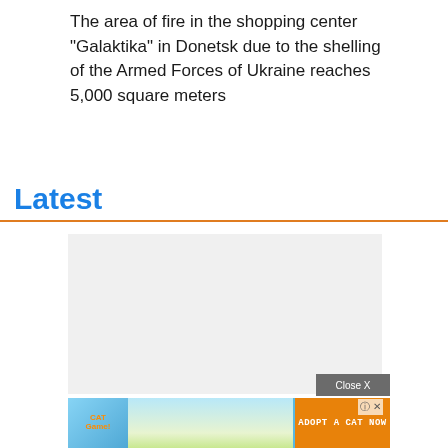The area of fire in the shopping center "Galaktika" in Donetsk due to the shelling of the Armed Forces of Ukraine reaches 5,000 square meters
Latest
[Figure (other): Gray placeholder advertisement box with a Close X button overlay]
[Figure (other): Cat Game mobile advertisement banner showing cartoon cats with 'ADOPT A CAT NOW' text on orange background]